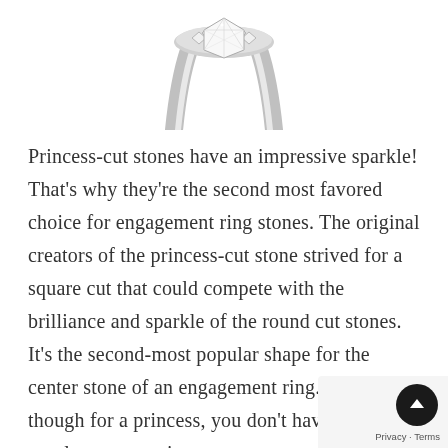[Figure (photo): Partial view of a diamond ring (princess-cut or similar), showing the top portion of the ring with diamonds, cropped at the top of the page on a white background.]
Princess-cut stones have an impressive sparkle! That's why they're the second most favored choice for engagement ring stones. The original creators of the princess-cut stone strived for a square cut that could compete with the brilliance and sparkle of the round cut stones. It's the second-most popular shape for the center stone of an engagement ring. Even though for a princess, you don't have to be royalty to appreciate